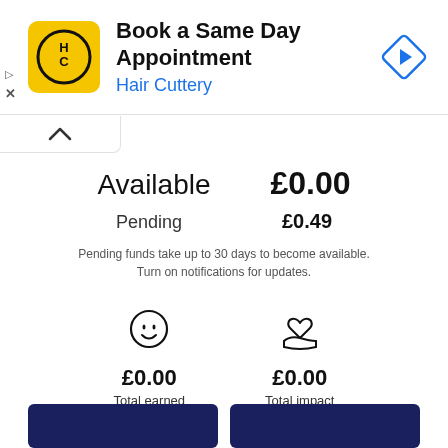[Figure (screenshot): Advertisement banner for Hair Cuttery: yellow logo with HC initials, title 'Book a Same Day Appointment', subtitle 'Hair Cuttery' in blue, blue diamond navigation icon on right, play and close icons on left]
Available   £0.00
Pending   £0.49
Pending funds take up to 30 days to become available. Turn on notifications for updates.
[Figure (illustration): Smiley face icon with open mouth and lines for eyes]
£0.00
Total earned
More details
[Figure (illustration): Hand holding a heart icon]
£0.00
Total impact
More details